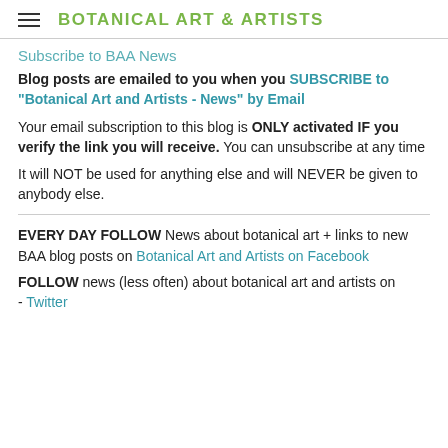BOTANICAL ART & ARTISTS
Subscribe to BAA News
Blog posts are emailed to you when you SUBSCRIBE to "Botanical Art and Artists - News" by Email
Your email subscription to this blog is ONLY activated IF you verify the link you will receive. You can unsubscribe at any time
It will NOT be used for anything else and will NEVER be given to anybody else.
EVERY DAY FOLLOW News about botanical art + links to new BAA blog posts on Botanical Art and Artists on Facebook
FOLLOW news (less often) about botanical art and artists on - Twitter